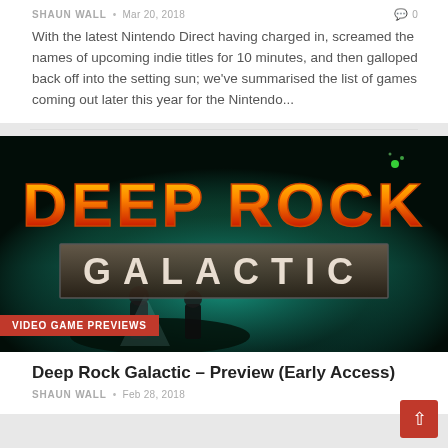SHAUN WALL • Mar 20, 2018 • 0
With the latest Nintendo Direct having charged in, screamed the names of upcoming indie titles for 10 minutes, and then galloped back off into the setting sun; we've summarised the list of games coming out later this year for the Nintendo...
[Figure (photo): Deep Rock Galactic game art with orange fiery logo text 'DEEP ROCK GALACTIC' over a dark cave scene with figures in the foreground. A red badge reading 'VIDEO GAME PREVIEWS' is overlaid at the bottom left.]
Deep Rock Galactic – Preview (Early Access)
SHAUN WALL • Feb 28, 2018